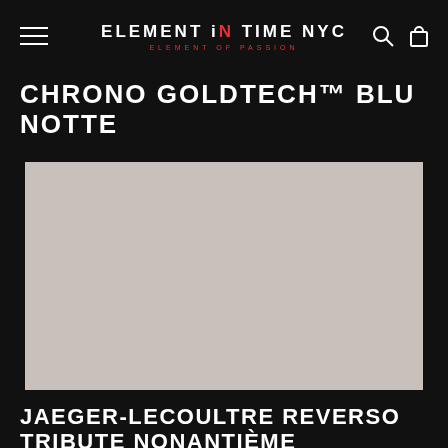ELEMENT iN TIME NYC — ELEMENT OF PASSION
CHRONO GOLDTECH™ BLU NOTTE
[Figure (photo): Product image placeholder — light gray rectangle representing a watch product photo]
JAEGER-LECOULTRE REVERSO TRIBUTE NONANTIÈME